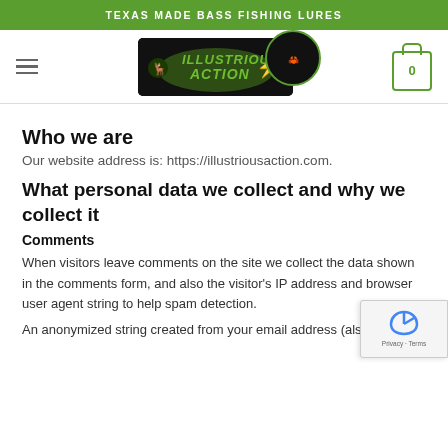TEXAS MADE BASS FISHING LURES
[Figure (logo): Illustrious Action bass fishing lures logo on dark background with decorative fish and claw imagery, with shopping cart icon on the right]
Who we are
Our website address is: https://illustriousaction.com.
What personal data we collect and why we collect it
Comments
When visitors leave comments on the site we collect the data shown in the comments form, and also the visitor's IP address and browser user agent string to help spam detection.
An anonymized string created from your email address (also